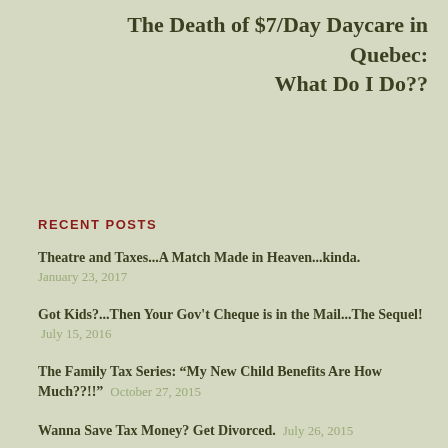The Death of $7/Day Daycare in Quebec: What Do I Do??
RECENT POSTS
Theatre and Taxes...A Match Made in Heaven...kinda. January 23, 2017
Got Kids?...Then Your Gov't Cheque is in the Mail...The Sequel! July 15, 2016
The Family Tax Series: “My New Child Benefits Are How Much??!!” October 27, 2015
Wanna Save Tax Money? Get Divorced. July 26, 2015
An Open Letter to TD Canada Trust July 26, 2015